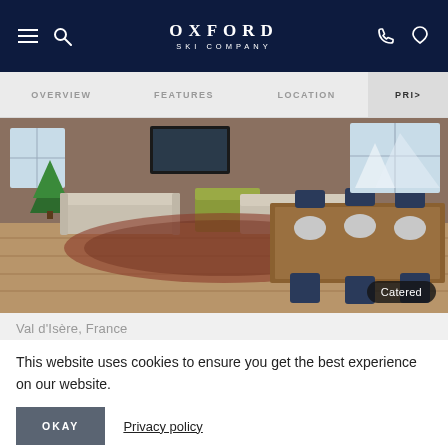OXFORD SKI COMPANY
OVERVIEW   FEATURES   LOCATION   PRIC...
[Figure (photo): Interior of a luxury ski chalet showing a living room with sofas, a dining table set for dinner with dark blue chairs, hardwood floors, a patterned rug, Christmas tree, and large windows. A 'Catered' badge appears in the bottom right.]
Val d'Isère, France
This website uses cookies to ensure you get the best experience on our website.
OKAY
Privacy policy